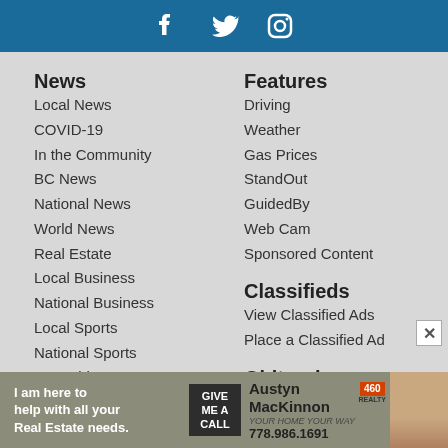[Figure (illustration): Blue header bar with white social media icons for Facebook, Twitter, and Instagram]
News
Local News
COVID-19
In the Community
BC News
National News
World News
Real Estate
Local Business
National Business
Local Sports
National Sports
Cannabis News
Digital Edition
Opinion
Opinion
Send us a letter
Features
Driving
Weather
Gas Prices
StandOut
GuidedBy
Web Cam
Sponsored Content
Classifieds
View Classified Ads
Place a Classified Ad
Obituaries
View Obituaries
Place an Obituary/In Memoriam
Connect
[Figure (illustration): Advertisement banner for Austyn MacKinnon real estate agent. Text: I am here to help with all your Real Estate needs. GIVE ME A CALL. Austyn MacKinnon YOUR HOME YOUR WAY. 778.986.1691. 460 REALTY logo.]